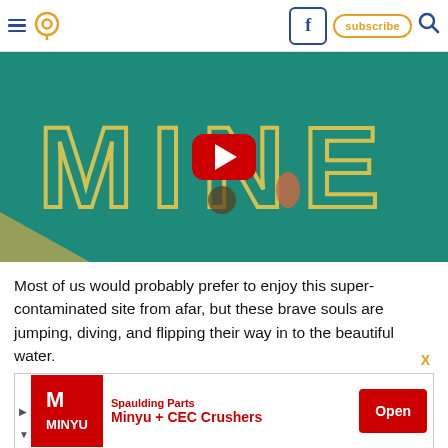Navigation bar with hamburger menu, location pin icon, Facebook button, subscribe button, search icon
[Figure (screenshot): YouTube video thumbnail showing the word MINE spelled out in large yellow letters over a teal/green swimming pool, with a red YouTube play button overlay. People are visible swimming in the pool.]
Most of us would probably prefer to enjoy this super-contaminated site from afar, but these brave souls are jumping, diving, and flipping their way in to the beautiful water.
[Figure (other): Advertisement for Minyu + CEC Crushers by Spaulding Parts with red Open button]